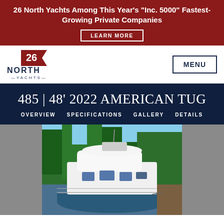26 North Yachts Among This Year's "Inc. 5000" Fastest-Growing Private Companies
LEARN MORE
[Figure (logo): 26 North Yachts logo with pennant flag]
MENU
485 | 48' 2022 AMERICAN TUG
OVERVIEW   SPECIFICATIONS   GALLERY   DETAILS
[Figure (photo): 48 foot 2022 American Tug yacht docked at marina, white hull with blue bottom, trees in background]